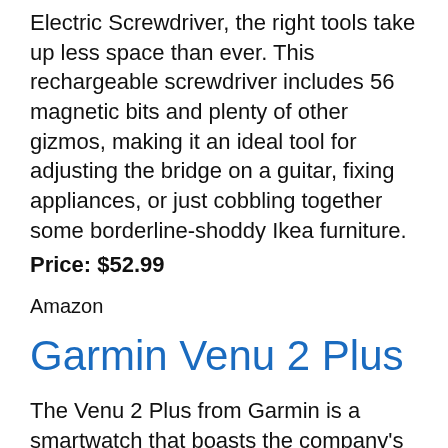Electric Screwdriver, the right tools take up less space than ever. This rechargeable screwdriver includes 56 magnetic bits and plenty of other gizmos, making it an ideal tool for adjusting the bridge on a guitar, fixing appliances, or just cobbling together some borderline-shoddy Ikea furniture. Price: $52.99
Amazon
Garmin Venu 2 Plus
The Venu 2 Plus from Garmin is a smartwatch that boasts the company's signature fitness tracking and GPS, along with a speaker and microphone for